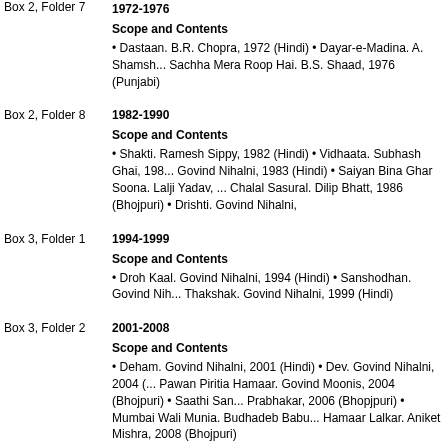Box 2, Folder 7  1972-1976
Scope and Contents
• Dastaan. B.R. Chopra, 1972 (Hindi) • Dayar-e-Madina. A. Shamsh... Sachha Mera Roop Hai. B.S. Shaad, 1976 (Punjabi)
Box 2, Folder 8  1982-1990
Scope and Contents
• Shakti. Ramesh Sippy, 1982 (Hindi) • Vidhaata. Subhash Ghai, 198... Govind Nihalni, 1983 (Hindi) • Saiyan Bina Ghar Soona. Lalji Yadav, ... Chalal Sasural. Dilip Bhatt, 1986 (Bhojpuri) • Drishti. Govind Nihalni,
Box 3, Folder 1  1994-1999
Scope and Contents
• Droh Kaal. Govind Nihalni, 1994 (Hindi) • Sanshodhan. Govind Nih... Thakshak. Govind Nihalni, 1999 (Hindi)
Box 3, Folder 2  2001-2008
Scope and Contents
• Deham. Govind Nihalni, 2001 (Hindi) • Dev. Govind Nihalni, 2004 (... Pawan Piritia Hamaar. Govind Moonis, 2004 (Bhojpuri) • Saathi San... Prabhakar, 2006 (Bhopjpuri) • Mumbai Wali Munia. Budhadeb Babu... Hamaar Lalkar. Aniket Mishra, 2008 (Bhojpuri)